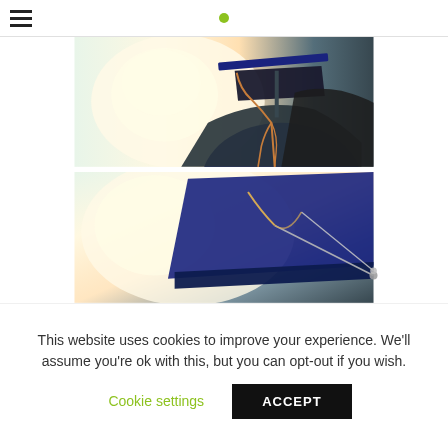[Figure (photo): Close-up photo of a graduate wearing a dark mortarboard graduation cap with a tassel, backlit by warm golden sunlight, blurred background]
[Figure (photo): Partial view of a dark graduation cap with metal accents/pins, against a bright blurred background with warm light]
This website uses cookies to improve your experience. We'll assume you're ok with this, but you can opt-out if you wish.
Cookie settings
ACCEPT